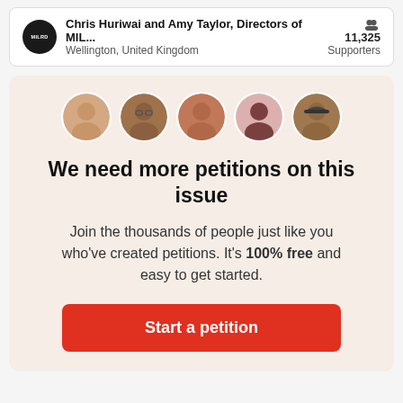Chris Huriwai and Amy Taylor, Directors of MIL... Wellington, United Kingdom — 11,325 Supporters
We need more petitions on this issue
Join the thousands of people just like you who've created petitions. It's 100% free and easy to get started.
Start a petition